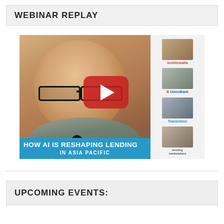WEBINAR REPLAY
[Figure (screenshot): Webinar replay thumbnail showing a presenter with glasses smiling, with a YouTube play button overlay. Right side shows participant thumbnails with logos: MobileWalla, UnionBank, TransUnion, and a fourth company. Blue banner at bottom reads 'HOW AI IS RESHAPING LENDING IN ASIA PACIFIC'.]
UPCOMING EVENTS: